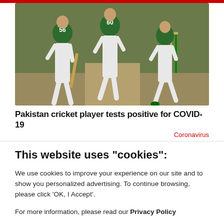[Figure (photo): Cricket players in white uniforms on a cricket pitch. Players wearing jerseys numbered 56 (BASR) and 60 (ABID) visible. Green cricket stumps in background.]
Pakistan cricket player tests positive for COVID-19
Coronavirus
This website uses "cookies":
We use cookies to improve your experience on our site and to show you personalized advertising. To continue browsing, please click 'OK, I Accept'.
For more information, please read our Privacy Policy